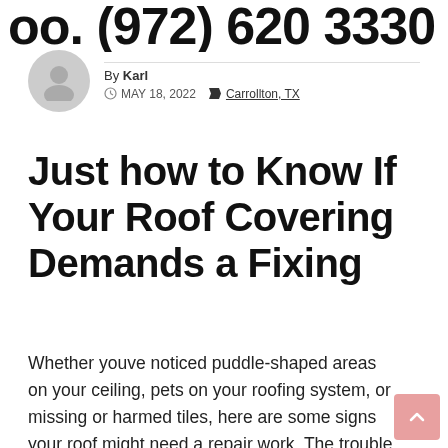oo. (972) 620 3330
By Karl  MAY 18, 2022  Carrollton, TX
Just how to Know If Your Roof Covering Demands a Fixing
Whether youve noticed puddle-shaped areas on your ceiling, pets on your roofing system, or missing or harmed tiles, here are some signs your roof might need a repair work. The trouble might be a lot more severe than you think